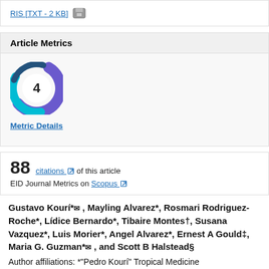RIS [TXT - 2 KB]
Article Metrics
[Figure (infographic): Article Metrics donut/swirl badge showing the number 4 in the center, with blue and purple swirl design around it.]
Metric Details
88 citations of this article
EID Journal Metrics on Scopus
Gustavo Kourí*✉ , Mayling Alvarez*, Rosmari Rodriguez-Roche*, Lídice Bernardo*, Tibaire Montes†, Susana Vazquez*, Luis Morier*, Angel Alvarez*, Ernest A Gould‡, Maria G. Guzman*✉ , and Scott B Halstead§
Author affiliations: *"Pedro Kourí" Tropical Medicine